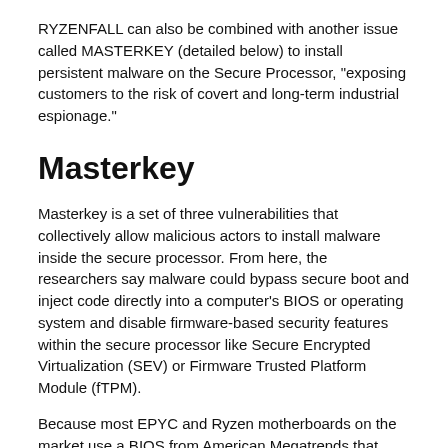RYZENFALL can also be combined with another issue called MASTERKEY (detailed below) to install persistent malware on the Secure Processor, "exposing customers to the risk of covert and long-term industrial espionage."
Masterkey
Masterkey is a set of three vulnerabilities that collectively allow malicious actors to install malware inside the secure processor. From here, the researchers say malware could bypass secure boot and inject code directly into a computer's BIOS or operating system and disable firmware-based security features within the secure processor like Secure Encrypted Virtualization (SEV) or Firmware Trusted Platform Module (fTPM).
Because most EPYC and Ryzen motherboards on the market use a BIOS from American Megatrends that allows
reflashing from within the OS using a command-line utility, CTS says Masterkey can often be exploited remotely.